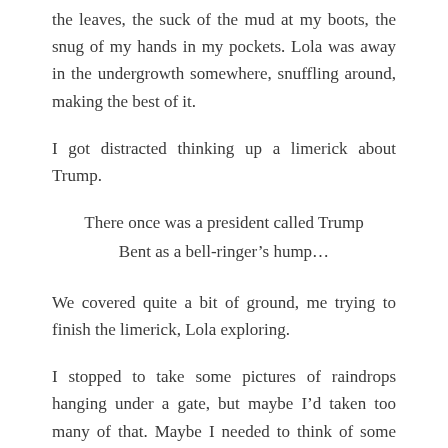the leaves, the suck of the mud at my boots, the snug of my hands in my pockets. Lola was away in the undergrowth somewhere, snuffling around, making the best of it.
I got distracted thinking up a limerick about Trump.
There once was a president called Trump
Bent as a bell-ringer’s hump…
We covered quite a bit of ground, me trying to finish the limerick, Lola exploring.
I stopped to take some pictures of raindrops hanging under a gate, but maybe I’d taken too many of that. Maybe I needed to think of some other angle.